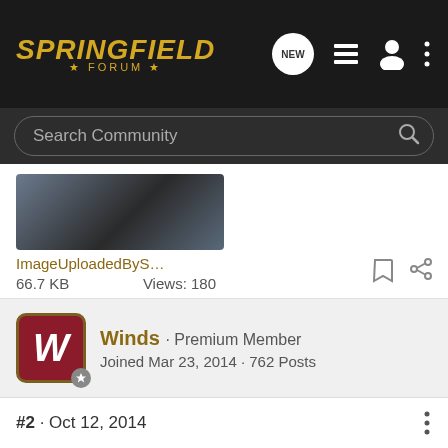Springfield Forum
[Figure (screenshot): Navigation bar with Springfield Forum logo in gold italic text, icons for NEW message bubble, list view, person/account, and three-dot menu on dark background]
Search Community
[Figure (photo): Partial thumbnail image of a gun/firearm with blue background]
ImageUploadedByS...
66.7 KB   Views: 180
Winds · Premium Member
Joined Mar 23, 2014 · 762 Posts
#2 · Oct 12, 2014
I don't know the answer to your question but whenever I wonder what one gun has over the other, I go to the manufacturer's website and pull up the specs. In a second window, I pull up the specs of the second gun and flip back and forth between the